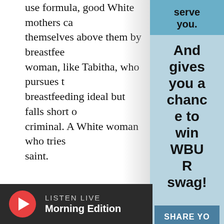use formula, good White mothers ca themselves above them by breastfeed woman, like Tabitha, who pursues th breastfeeding ideal but falls short of criminal. A White woman who tries b saint.
Formula is a seventy-billion-dollar i designed to help infants without acc milk survive, formula now serves as replacement for human milk. The p many women to participate fully in t workforce, absent the structural sup
serve you. And gives you a chance to win WBUR swag!
SHARE YO
LISTEN LIVE Morning Edition